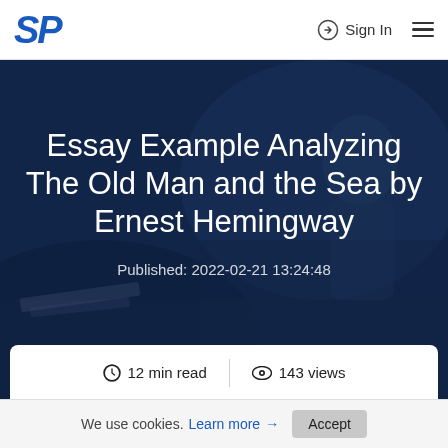SP  Sign In
[Figure (photo): Dark navy blue hero background image showing a blurred desk/study scene with books and a person in the background]
Essay Example Analyzing The Old Man and the Sea by Ernest Hemingway
Published: 2022-02-21 13:24:48
12 min read  |  143 views
We use cookies. Learn more → Accept